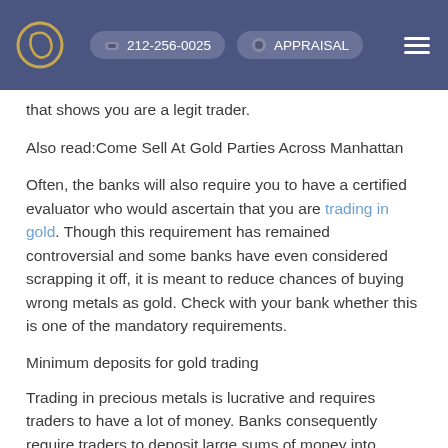212-256-0025  APPRAISAL
that shows you are a legit trader.
Also read:Come Sell At Gold Parties Across Manhattan
Often, the banks will also require you to have a certified evaluator who would ascertain that you are trading in gold. Though this requirement has remained controversial and some banks have even considered scrapping it off, it is meant to reduce chances of buying wrong metals as gold. Check with your bank whether this is one of the mandatory requirements.
Minimum deposits for gold trading
Trading in precious metals is lucrative and requires traders to have a lot of money. Banks consequently require traders to deposit large sums of money into